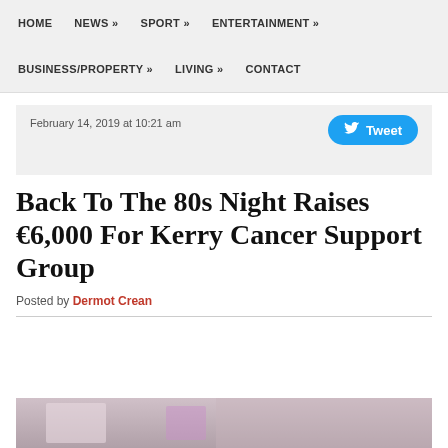HOME | NEWS » | SPORT » | ENTERTAINMENT » | BUSINESS/PROPERTY » | LIVING » | CONTACT
February 14, 2019 at 10:21 am
Back To The 80s Night Raises €6,000 For Kerry Cancer Support Group
Posted by Dermot Crean
[Figure (photo): Bottom strip of a photo showing an indoor event venue with purple/pink lighting]